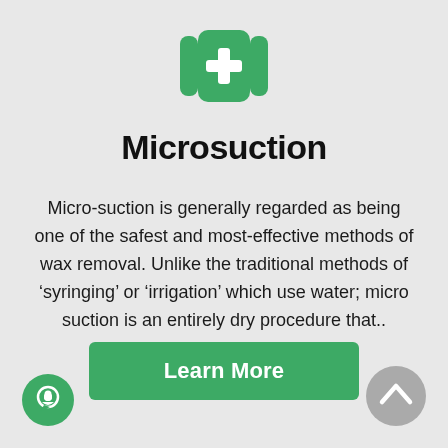[Figure (logo): Green rounded square icon with a white medical cross/plus symbol and vertical bar accents on each side]
Microsuction
Micro-suction is generally regarded as being one of the safest and most-effective methods of wax removal. Unlike the traditional methods of ‘syringing’ or ‘irrigation’ which use water; micro suction is an entirely dry procedure that..
[Figure (other): Green rounded rectangle button labeled 'Learn More']
[Figure (other): Green circle chat icon in bottom-left corner]
[Figure (other): Gray circle scroll-to-top arrow icon in bottom-right corner]